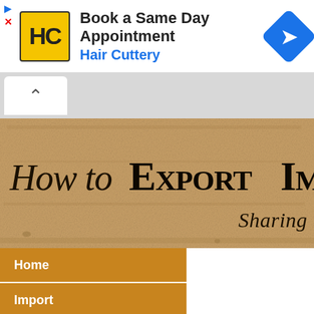[Figure (screenshot): Advertisement banner for Hair Cuttery showing logo, 'Book a Same Day Appointment', and blue arrow icon]
[Figure (screenshot): Browser UI bar with white tab/chevron button on gray background]
[Figure (illustration): Parchment-style banner reading 'How to Export Import. Sharing thoughts...' in gothic and script fonts]
Home
Import
Export
For Beginners
How to export